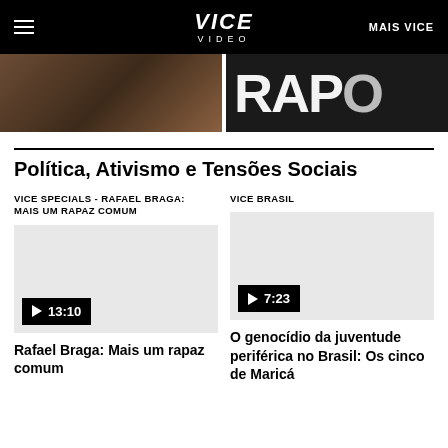VICE VIDEO | MAIS VICE
[Figure (screenshot): Two video thumbnails side by side: left is a dark brown/earthy scene, right shows large white letters on dark background]
Política, Ativismo e Tensões Sociais
VICE SPECIALS - RAFAEL BRAGA: MAIS UM RAPAZ COMUM
[Figure (screenshot): Video thumbnail placeholder (light grey) with black play badge showing 13:10]
Rafael Braga: Mais um rapaz comum
VICE BRASIL
[Figure (screenshot): Video thumbnail placeholder (light grey) with black play badge showing 7:23]
O genocídio da juventude periférica no Brasil: Os cinco de Maricá